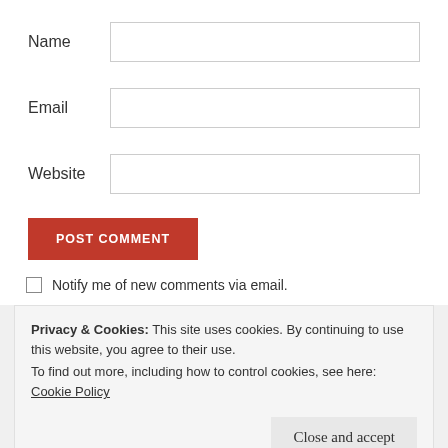Name
Email
Website
POST COMMENT
Notify me of new comments via email.
Privacy & Cookies: This site uses cookies. By continuing to use this website, you agree to their use.
To find out more, including how to control cookies, see here: Cookie Policy
Close and accept